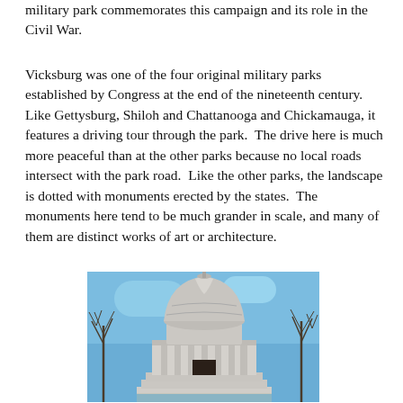military park commemorates this campaign and its role in the Civil War.
Vicksburg was one of the four original military parks established by Congress at the end of the nineteenth century.  Like Gettysburg, Shiloh and Chattanooga and Chickamauga, it features a driving tour through the park.  The drive here is much more peaceful than at the other parks because no local roads intersect with the park road.  Like the other parks, the landscape is dotted with monuments erected by the states.  The monuments here tend to be much grander in scale, and many of them are distinct works of art or architecture.
[Figure (photo): Photograph of the Illinois Memorial at Vicksburg National Military Park — a classical domed rotunda with columns, surrounded by bare winter trees against a blue sky.]